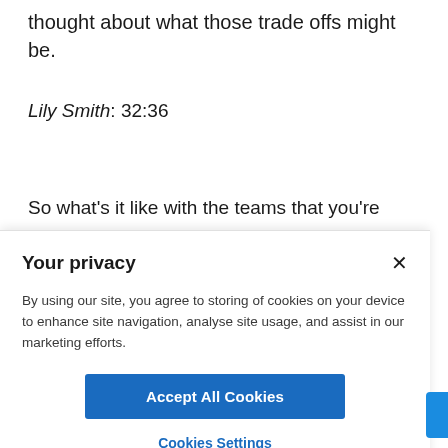thought about what those trade offs might be.
Lily Smith: 32:36
So what's it like with the teams that you're
Your privacy
By using our site, you agree to storing of cookies on your device to enhance site navigation, analyse site usage, and assist in our marketing efforts.
Accept All Cookies
Cookies Settings